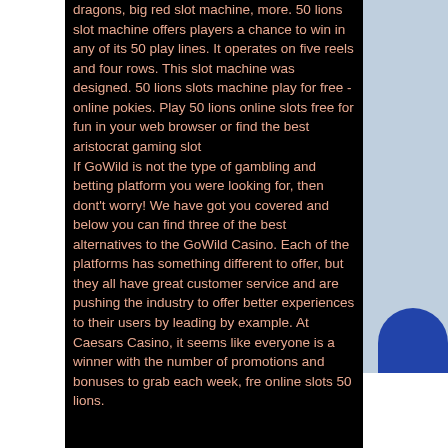dragons, big red slot machine, more. 50 lions slot machine offers players a chance to win in any of its 50 play lines. It operates on five reels and four rows. This slot machine was designed. 50 lions slots machine play for free - online pokies. Play 50 lions online slots free for fun in your web browser or find the best aristocrat gaming slot
If GoWild is not the type of gambling and betting platform you were looking for, then dont't worry! We have got you covered and below you can find three of the best alternatives to the GoWild Casino. Each of the platforms has something different to offer, but they all have great customer service and are pushing the industry to offer better experiences to their users by leading by example. At Caesars Casino, it seems like everyone is a winner with the number of promotions and bonuses to grab each week, fre online slots 50 lions.